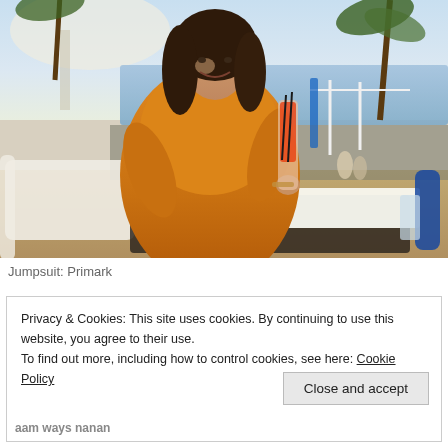[Figure (photo): A young woman with curly brown hair wearing an orange jumpsuit, sitting at an outdoor beachside bar/restaurant, holding a cocktail drink with straws. Palm trees, ocean, and sandy beach visible in the background. A white tray and blue bottle on the table.]
Jumpsuit: Primark
Privacy & Cookies: This site uses cookies. By continuing to use this website, you agree to their use.
To find out more, including how to control cookies, see here: Cookie Policy
Close and accept
aam ways nanan